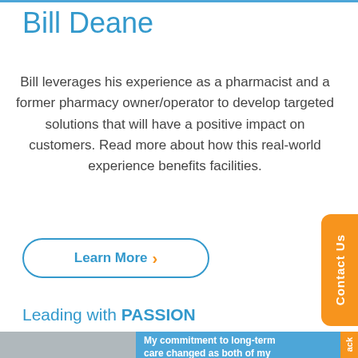Bill Deane
Bill leverages his experience as a pharmacist and a former pharmacy owner/operator to develop targeted solutions that will have a positive impact on customers. Read more about how this real-world experience benefits facilities.
[Figure (other): Button with text 'Learn More' and an orange chevron arrow, with a blue rounded rectangle border]
[Figure (other): Orange vertical tab on right side with 'Contact Us' text rotated]
Leading with PASSION
[Figure (photo): Photo of a person with gray hair in the bottom left, next to a blue box containing quote text about long-term care and grandmothers]
My commitment to long-term care changed as both of my grandmothers aged and needed